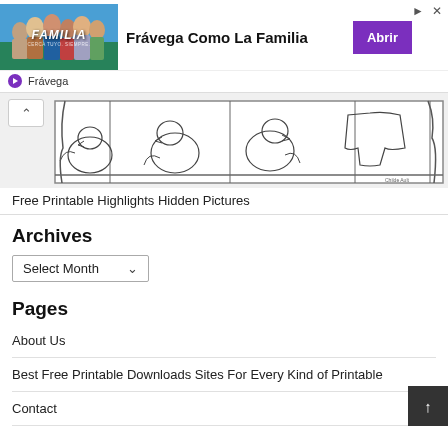[Figure (infographic): Advertisement banner for Frávega Como La Familia with photo of people and purple Abrir button]
[Figure (illustration): Free printable highlights hidden pictures coloring page showing birds and animals in a line drawing style]
Free Printable Highlights Hidden Pictures
Archives
Select Month
Pages
About Us
Best Free Printable Downloads Sites For Every Kind of Printable
Contact